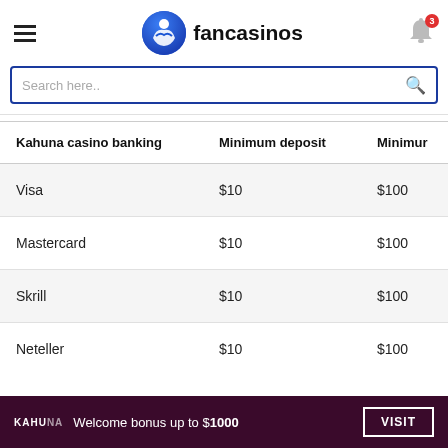fancasinos navigation header with hamburger menu and notification bell (3)
Search here..
| Kahuna casino banking | Minimum deposit | Minimum |
| --- | --- | --- |
| Visa | $10 | $100 |
| Mastercard | $10 | $100 |
| Skrill | $10 | $100 |
| Neteller | $10 | $100 |
KAHUNA Welcome bonus up to $1000 VISIT